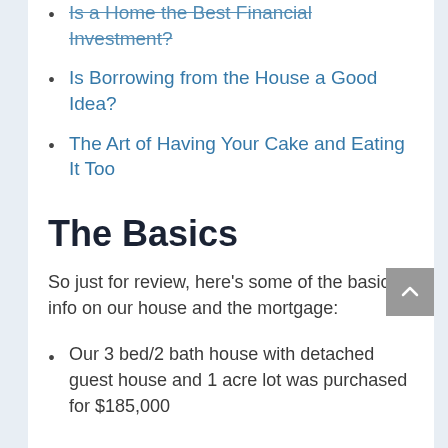Is a Home the Best Financial Investment?
Is Borrowing from the House a Good Idea?
The Art of Having Your Cake and Eating It Too
The Basics
So just for review, here’s some of the basic info on our house and the mortgage:
Our 3 bed/2 bath house with detached guest house and 1 acre lot was purchased for $185,000